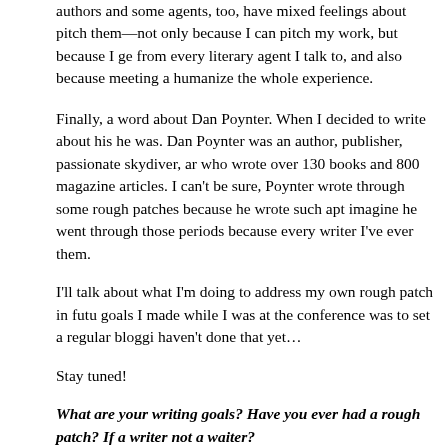authors and some agents, too, have mixed feelings about pitch them—not only because I can pitch my work, but because I ge from every literary agent I talk to, and also because meeting a humanize the whole experience.
Finally, a word about Dan Poynter. When I decided to write about his he was. Dan Poynter was an author, publisher, passionate skydiver, ar who wrote over 130 books and 800 magazine articles. I can't be sure, Poynter wrote through some rough patches because he wrote such ap imagine he went through those periods because every writer I've ever them.
I'll talk about what I'm doing to address my own rough patch in futu goals I made while I was at the conference was to set a regular bloggi haven't done that yet…
Stay tuned!
What are your writing goals? Have you ever had a rough patch? If a writer not a waiter?
Cheers,